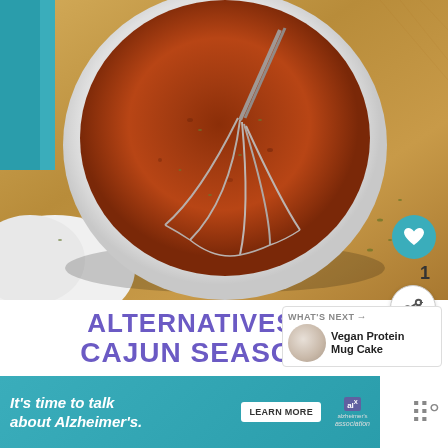[Figure (photo): Overhead view of a white bowl filled with reddish-brown Cajun seasoning spice blend being mixed with a metal whisk, placed on a wooden cutting board with a teal cloth and white cloth visible, scattered herbs around]
ALTERNATIVES FOR CAJUN SEASONING
[Figure (infographic): What's Next panel showing a circular thumbnail of Vegan Protein Mug Cake with text 'WHAT'S NEXT → Vegan Protein Mug Cake']
[Figure (screenshot): Advertisement banner with teal background: "It's time to talk about Alzheimer's." with LEARN MORE button and Alzheimer's Association logo with X close button]